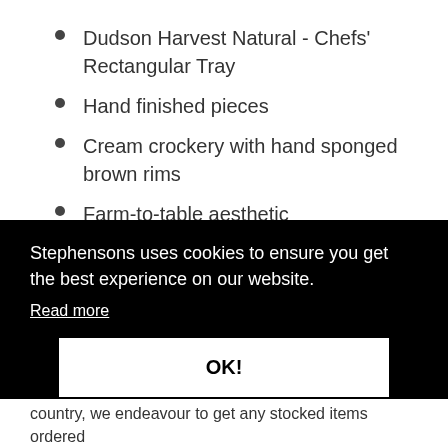Dudson Harvest Natural - Chefs' Rectangular Tray
Hand finished pieces
Cream crockery with hand sponged brown rims
Farm-to-table aesthetic
Microwave safe
Dishwasher safe
Made in England
Stephensons uses cookies to ensure you get the best experience on our website.
Read more
OK!
country, we endeavour to get any stocked items ordered